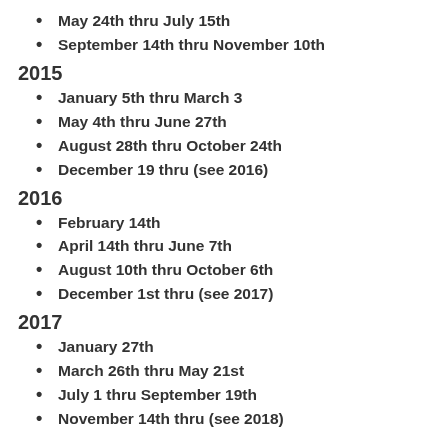May 24th thru July 15th
September 14th thru November 10th
2015
January 5th thru March 3
May 4th thru June 27th
August 28th thru October 24th
December 19 thru (see 2016)
2016
February 14th
April 14th thru June 7th
August 10th thru October 6th
December 1st thru (see 2017)
2017
January 27th
March 26th thru May 21st
July 1 thru September 19th
November 14th thru (see 2018)